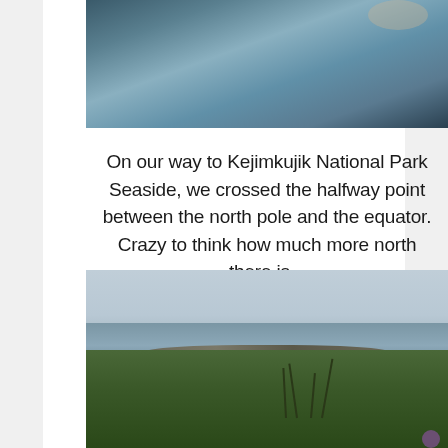[Figure (photo): Close-up photo of a person resting under blue-gray blankets/sheets, taken in dim indoor lighting]
On our way to Kejimkujik National Park Seaside, we crossed the halfway point between the north pole and the equator. Crazy to think how much more north there is...
[Figure (photo): Coastal landscape photo showing rocky shoreline with waves, overcast sky, and lush green vegetation with purple flowers in the foreground — Kejimkujik National Park Seaside]